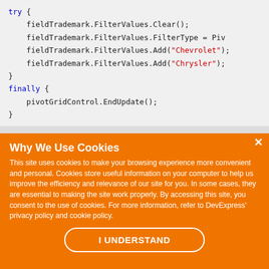[Figure (screenshot): Code snippet showing try/finally block with fieldTrademark.FilterValues operations and pivotGridControl.EndUpdate() call]
Why We Use Cookies
This site uses cookies to make your browsing experience more convenient and personal. Cookies store useful information on your computer to help us improve the efficiency and relevance of our site for you. In some cases, they are essential to making the site work properly. By accessing this site, you consent to the use of cookies. For more information, refer to DevExpress' privacy policy and cookie policy.
I UNDERSTAND